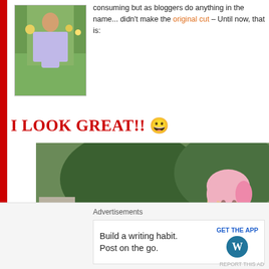consuming but as bloggers do anything in the name... didn't make the original cut – Until now, that is:
[Figure (photo): Person standing in a garden with floral pants, holding plants, green lawn background]
I LOOK GREAT!! 😀
[Figure (photo): Woman with pink-tipped blonde hair in a denim jacket standing in a garden with pink coneflowers and trees in background, video player overlay with close button]
Advertisements
Build a writing habit. Post on the go. GET THE APP